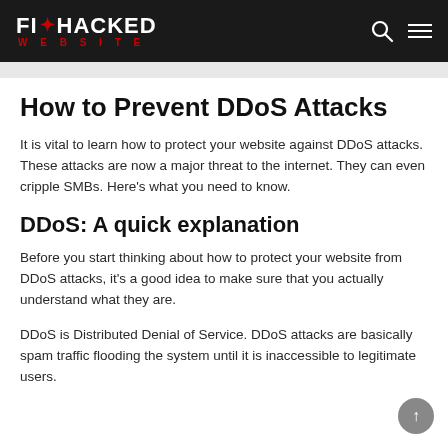FIX HACKED WEBSITE
How to Prevent DDoS Attacks
It is vital to learn how to protect your website against DDoS attacks. These attacks are now a major threat to the internet. They can even cripple SMBs. Here's what you need to know.
DDoS: A quick explanation
Before you start thinking about how to protect your website from DDoS attacks, it's a good idea to make sure that you actually understand what they are.
DDoS is Distributed Denial of Service. DDoS attacks are basically spam traffic flooding the system until it is inaccessible to legitimate users.